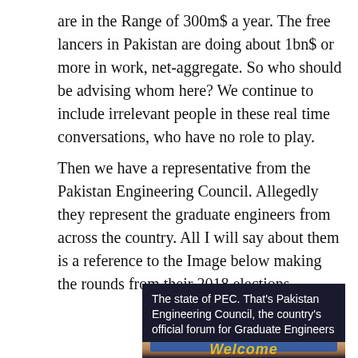are in the Range of 300m$ a year. The free lancers in Pakistan are doing about 1bn$ or more in work, net-aggregate. So who should be advising whom here? We continue to include irrelevant people in these real time conversations, who have no role to play.
Then we have a representative from the Pakistan Engineering Council. Allegedly they represent the graduate engineers from across the country. All I will say about them is a reference to the Image below making the rounds from their 2018 elections.
[Figure (photo): Dark background image with text 'The state of PEC. That's Pakistan Engineering Council, the country's official forum for Graduate Engineers' in white, and below a photo showing a blue 'Welcome' banner in front of a person]